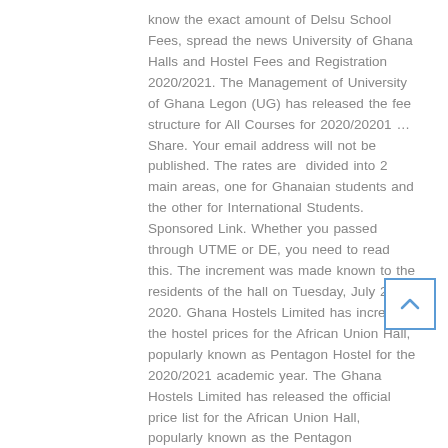know the exact amount of Delsu School Fees, spread the news University of Ghana Halls and Hostel Fees and Registration 2020/2021. The Management of University of Ghana Legon (UG) has released the fee structure for All Courses for 2020/20201 … Share. Your email address will not be published. The rates are divided into 2 main areas, one for Ghanaian students and the other for International Students. Sponsored Link. Whether you passed through UTME or DE, you need to read this. The increment was made known to the residents of the hall on Tuesday, July 28, 2020. Ghana Hostels Limited has increased the hostel prices for the African Union Hall, popularly known as Pentagon Hostel for the 2020/2021 academic year. The Ghana Hostels Limited has released the official price list for the African Union Hall, popularly known as the Pentagon
[Figure (other): Scroll-to-top button with upward chevron arrow, blue border on white background]